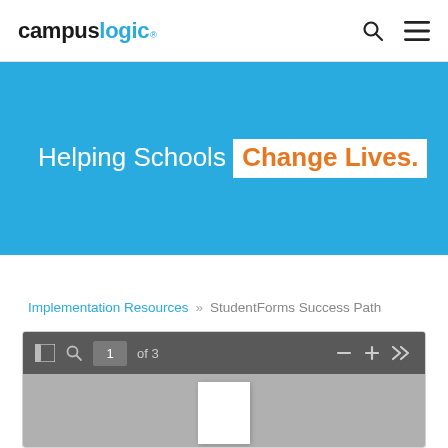[Figure (logo): CampusLogic logo with 'campus' in black bold and 'logic' in blue, with registered trademark symbol]
Helping Schools Change Lives.
Implementation Resources » StudentForms Success Path
[Figure (screenshot): PDF viewer toolbar showing page 1 of 3 with navigation controls including sidebar, search, zoom, and forward/back buttons]